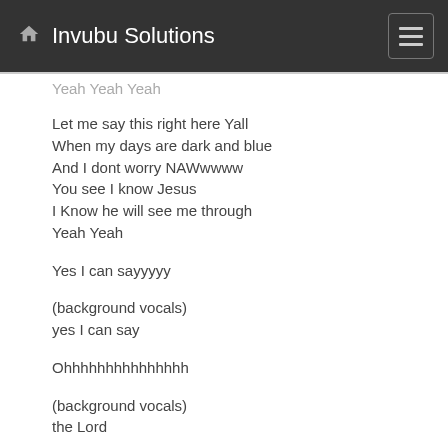Invubu Solutions
Yeah Yeah Yeah
Let me say this right here Yall
When my days are dark and blue
And I dont worry NAWwwww
You see I know Jesus
I Know he will see me through
Yeah Yeah
Yes I can sayyyyy
(background vocals)
yes I can say
Ohhhhhhhhhhhhhhh
(background vocals)
the Lord